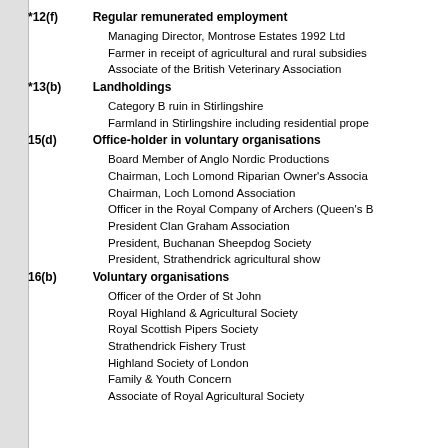*12(f)  Regular remunerated employment
Managing Director, Montrose Estates 1992 Ltd
Farmer in receipt of agricultural and rural subsidies
Associate of the British Veterinary Association
*13(b)  Landholdings
Category B ruin in Stirlingshire
Farmland in Stirlingshire including residential prope
15(d)  Office-holder in voluntary organisations
Board Member of Anglo Nordic Productions
Chairman, Loch Lomond Riparian Owner's Associa
Chairman, Loch Lomond Association
Officer in the Royal Company of Archers (Queen's B
President Clan Graham Association
President, Buchanan Sheepdog Society
President, Strathendrick agricultural show
16(b)  Voluntary organisations
Officer of the Order of St John
Royal Highland & Agricultural Society
Royal Scottish Pipers Society
Strathendrick Fishery Trust
Highland Society of London
Family & Youth Concern
Associate of Royal Agricultural Society